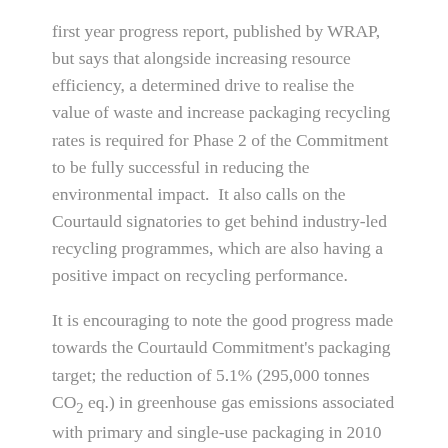first year progress report, published by WRAP, but says that alongside increasing resource efficiency, a determined drive to realise the value of waste and increase packaging recycling rates is required for Phase 2 of the Commitment to be fully successful in reducing the environmental impact.  It also calls on the Courtauld signatories to get behind industry-led recycling programmes, which are also having a positive impact on recycling performance.
It is encouraging to note the good progress made towards the Courtauld Commitment's packaging target; the reduction of 5.1% (295,000 tonnes CO2 eq.) in greenhouse gas emissions associated with primary and single-use packaging in 2010 is welcome news.
However, although this means the agreement's